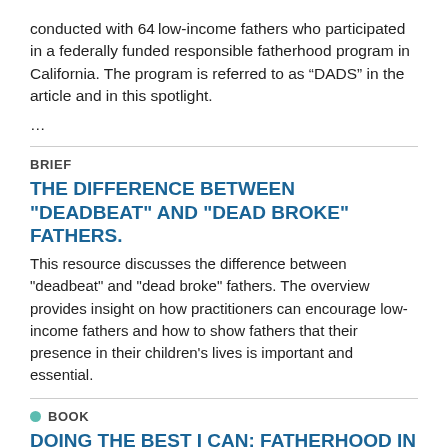conducted with 64 low-income fathers who participated in a federally funded responsible fatherhood program in California. The program is referred to as “DADS” in the article and in this spotlight.
…
BRIEF
THE DIFFERENCE BETWEEN "DEADBEAT" AND "DEAD BROKE" FATHERS.
This resource discusses the difference between "deadbeat" and "dead broke" fathers. The overview provides insight on how practitioners can encourage low-income fathers and how to show fathers that their presence in their children's lives is important and essential.
BOOK
DOING THE BEST I CAN: FATHERHOOD IN THE